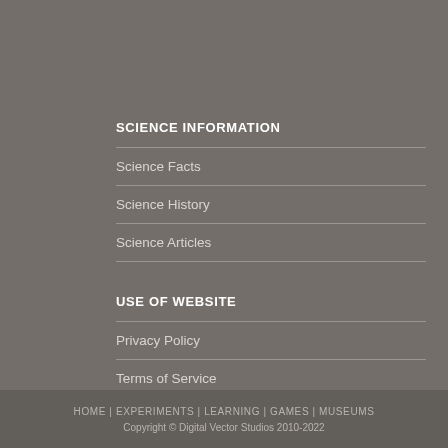SCIENCE INFORMATION
Science Facts
Science History
Science Articles
USE OF WEBSITE
Privacy Policy
Terms of Service
HOME | EXPERIMENTS | LEARNING | GAMES | MUSEUMS
Copyright © Digital Vector Studios 2010-2022